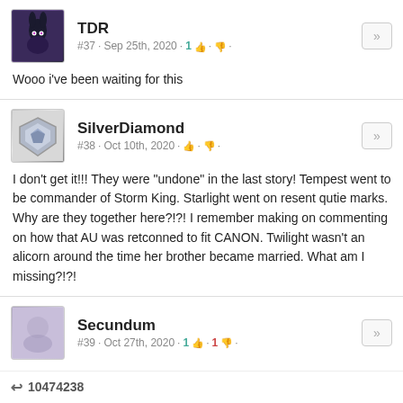[Figure (other): Avatar of user TDR - dark purple/black rabbit character]
TDR
#37 · Sep 25th, 2020 · 1 👍 · 👎 ·
Wooo i've been waiting for this
[Figure (other): Avatar of user SilverDiamond - silver shield/diamond logo]
SilverDiamond
#38 · Oct 10th, 2020 · 👍 · 👎 ·
I don't get it!!! They were "undone" in the last story! Tempest went to be commander of Storm King. Starlight went on resent qutie marks. Why are they together here?!?! I remember making on commenting on how that AU was retconned to fit CANON. Twilight wasn't an alicorn around the time her brother became married. What am I missing?!?!
[Figure (other): Avatar of user Secundum - blurred/light purple image]
Secundum
#39 · Oct 27th, 2020 · 1 👍 · 1 👎 ·
↩ 10474238